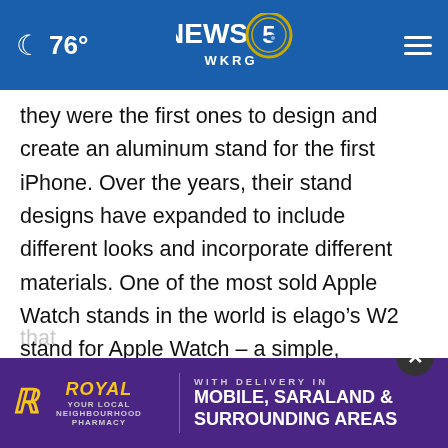76° NEWS 5 WKRG
they were the first ones to design and create an aluminum stand for the first iPhone. Over the years, their stand designs have expanded to include different looks and incorporate different materials. One of the most sold Apple Watch stands in the world is elago's W2 stand for Apple Watch – a simple, everyday stand made from durable silicone material. Galaxy Watch users can now add the W2 redesign to their nightstands and enjoy the simple sophistication that elago products are known for some
[Figure (screenshot): Royal Pharmacy advertisement banner: purple background with yellow Royal Rx logo, 'YOUR LOCAL NEIGHBOURHOOD PHARMACY', 'WITH DELIVERY IN MOBILE, SARALAND & SURROUNDING AREAS'. Close button (X) in dark circle at top right of ad.]